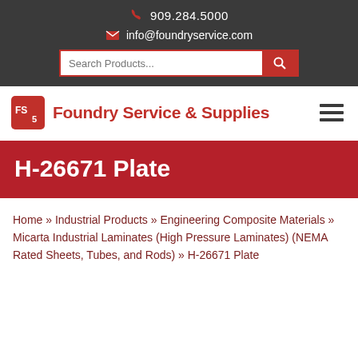909.284.5000 | info@foundryservice.com
[Figure (logo): Foundry Service & Supplies logo with FS5 icon in red square]
H-26671 Plate
Home » Industrial Products » Engineering Composite Materials » Micarta Industrial Laminates (High Pressure Laminates) (NEMA Rated Sheets, Tubes, and Rods) » H-26671 Plate